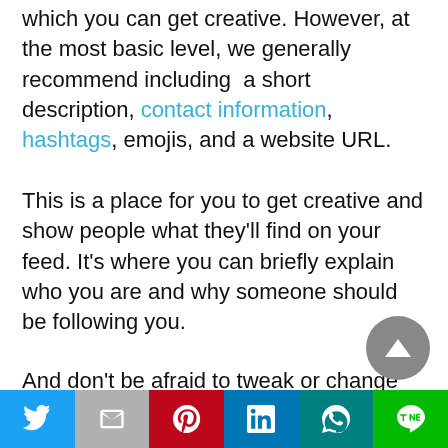which you can get creative. However, at the most basic level, we generally recommend including a short description, contact information, hashtags, emojis, and a website URL.
This is a place for you to get creative and show people what they'll find on your feed. It's where you can briefly explain who you are and why someone should be following you.
And don't be afraid to tweak or change the bio! Instagram Bios aren't set in stone and you can edit them whenever and however you want.